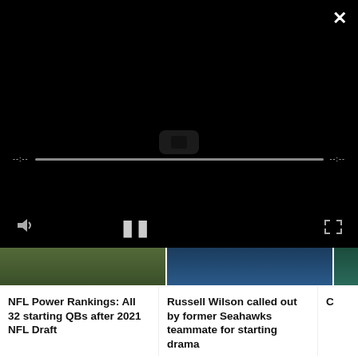[Figure (screenshot): Video player overlay with black background, progress bar, close button (×), volume icon, pause button (||), and expand icon]
NFL Power Rankings: All 32 starting QBs after 2021 NFL Draft
Russell Wilson called out by former Seahawks teammate for starting drama